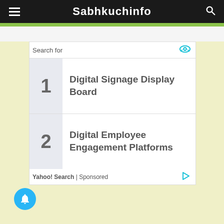Sabhkuchinfo
Search for
1 Digital Signage Display Board
2 Digital Employee Engagement Platforms
Yahoo! Search | Sponsored